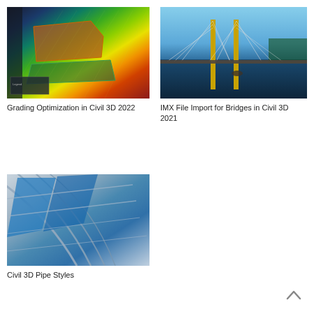[Figure (screenshot): Grading optimization visualization in Civil 3D showing colorized terrain elevation heatmap with green, yellow, orange and red gradient over a construction site plan]
Grading Optimization in Civil 3D 2022
[Figure (photo): Aerial photograph of a cable-stayed bridge with yellow pylons over blue water under a partly cloudy sky]
IMX File Import for Bridges in Civil 3D 2021
[Figure (photo): Close-up architectural photo of a curved glass and steel roof structure with blue glass panels and metallic framework]
Civil 3D Pipe Styles